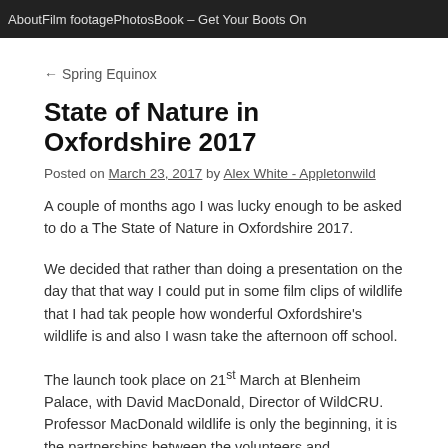About   Film footage   Photos   Book – Get Your Boots On
← Spring Equinox
State of Nature in Oxfordshire 2017
Posted on March 23, 2017 by Alex White - Appletonwild
A couple of months ago I was lucky enough to be asked to do a The State of Nature in Oxfordshire 2017.
We decided that rather than doing a presentation on the day that that way I could put in some film clips of wildlife that I had taken people how wonderful Oxfordshire's wildlife is and also I wasn take the afternoon off school.
The launch took place on 21st March at Blenheim Palace, with David MacDonald, Director of WildCRU. Professor MacDonald wildlife is only the beginning, it is the partnerships between the volunteers and conservation management that will make a posit